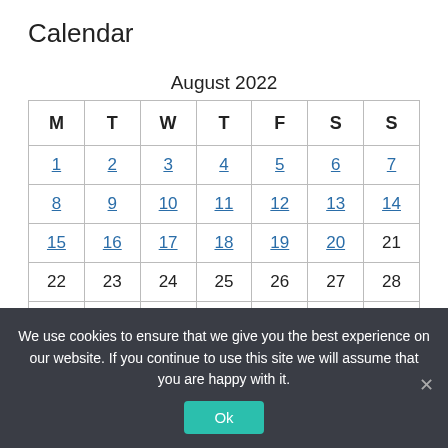Calendar
| M | T | W | T | F | S | S |
| --- | --- | --- | --- | --- | --- | --- |
| 1 | 2 | 3 | 4 | 5 | 6 | 7 |
| 8 | 9 | 10 | 11 | 12 | 13 | 14 |
| 15 | 16 | 17 | 18 | 19 | 20 | 21 |
| 22 | 23 | 24 | 25 | 26 | 27 | 28 |
|  |  |  |  |  |  |  |
We use cookies to ensure that we give you the best experience on our website. If you continue to use this site we will assume that you are happy with it.